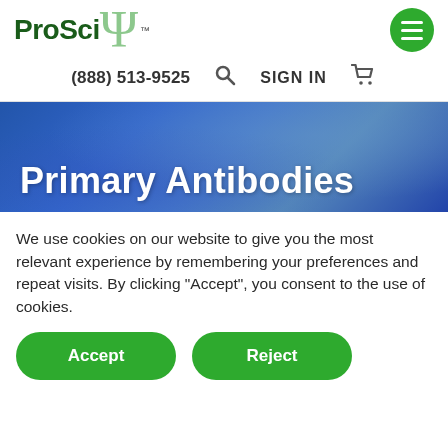ProSci [logo with psi symbol and TM]
(888) 513-9525   SIGN IN
[Figure (illustration): Blue banner background with Primary Antibodies heading text in white bold]
Primary Antibodies
We use cookies on our website to give you the most relevant experience by remembering your preferences and repeat visits. By clicking “Accept”, you consent to the use of cookies.
Accept
Reject